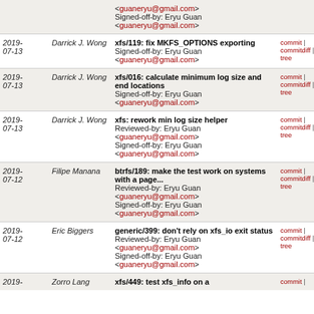| Date | Author | Commit | Links |
| --- | --- | --- | --- |
|  |  | <guaneryu@gmail.com>
Signed-off-by: Eryu Guan
<guaneryu@gmail.com> |  |
| 2019-07-13 | Darrick J. Wong | xfs/119: fix MKFS_OPTIONS exporting
Signed-off-by: Eryu Guan
<guaneryu@gmail.com> | commit | commitdiff | tree |
| 2019-07-13 | Darrick J. Wong | xfs/016: calculate minimum log size and end locations
Signed-off-by: Eryu Guan
<guaneryu@gmail.com> | commit | commitdiff | tree |
| 2019-07-13 | Darrick J. Wong | xfs: rework min log size helper
Reviewed-by: Eryu Guan
<guaneryu@gmail.com>
Signed-off-by: Eryu Guan
<guaneryu@gmail.com> | commit | commitdiff | tree |
| 2019-07-12 | Filipe Manana | btrfs/189: make the test work on systems with a page...
Reviewed-by: Eryu Guan
<guaneryu@gmail.com>
Signed-off-by: Eryu Guan
<guaneryu@gmail.com> | commit | commitdiff | tree |
| 2019-07-12 | Eric Biggers | generic/399: don't rely on xfs_io exit status
Reviewed-by: Eryu Guan
<guaneryu@gmail.com>
Signed-off-by: Eryu Guan
<guaneryu@gmail.com> | commit | commitdiff | tree |
| 2019- | Zorro Lang | xfs/449: test xfs_info on a | commit | |